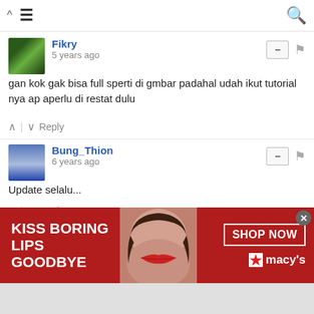Navigation bar with hamburger menu and search icon
Fikry
5 years ago
gan kok gak bisa full sperti di gmbar padahal udah ikut tutorial nya ap aperlu di restat dulu
Reply
Bung_Thion
6 years ago
Update selalu...
Reply
VrostAK
6 years ago
bro themenya bisa buat windows 7 ultimate gk
[Figure (photo): Advertisement banner: red background with woman's face showing red lips, text 'KISS BORING LIPS GOODBYE', SHOP NOW button, Macy's logo with star]